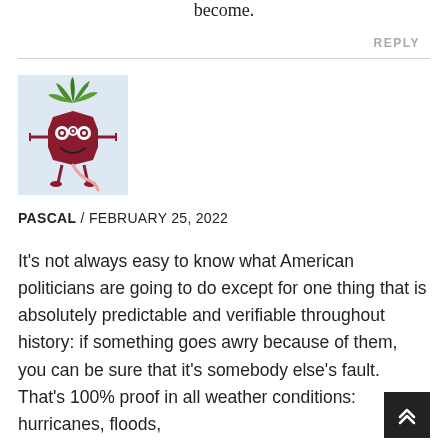become.
REPLY
[Figure (illustration): Cartoon beet character with green leafy top, three eyes, arms outstretched, small legs, and a pink tail, on a light blue background]
PASCAL / FEBRUARY 25, 2022
It's not always easy to know what American politicians are going to do except for one thing that is absolutely predictable and verifiable throughout history: if something goes awry because of them, you can be sure that it's somebody else's fault.
That's 100% proof in all weather conditions: hurricanes, floods,